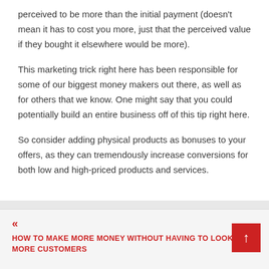perceived to be more than the initial payment (doesn't mean it has to cost you more, just that the perceived value if they bought it elsewhere would be more).
This marketing trick right here has been responsible for some of our biggest money makers out there, as well as for others that we know. One might say that you could potentially build an entire business off of this tip right here.
So consider adding physical products as bonuses to your offers, as they can tremendously increase conversions for both low and high-priced products and services.
« HOW TO MAKE MORE MONEY WITHOUT HAVING TO LOOK FOR MORE CUSTOMERS